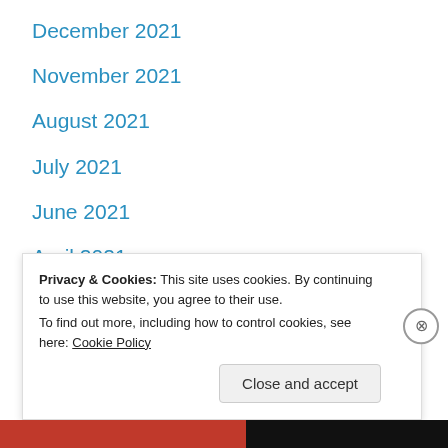December 2021
November 2021
August 2021
July 2021
June 2021
April 2021
March 2021
February 2021
January 2021
December 2020 (partial)
Privacy & Cookies: This site uses cookies. By continuing to use this website, you agree to their use.
To find out more, including how to control cookies, see here: Cookie Policy
Close and accept